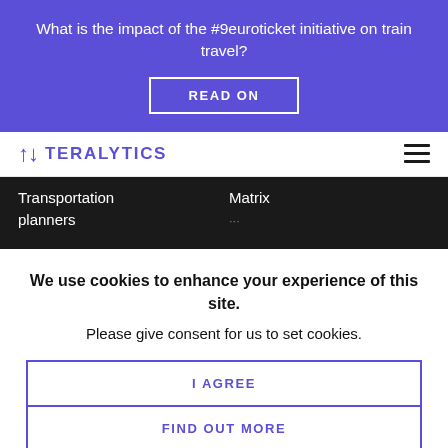What is the impact of the #9euroticket initiative on train travel?
READ ON
[Figure (logo): Teralytics logo with stylized arrow icon and wordmark in purple]
Transportation planners
Matrix
We use cookies to enhance your experience of this site. Please give consent for us to set cookies.
I AGREE
FIND OUT MORE